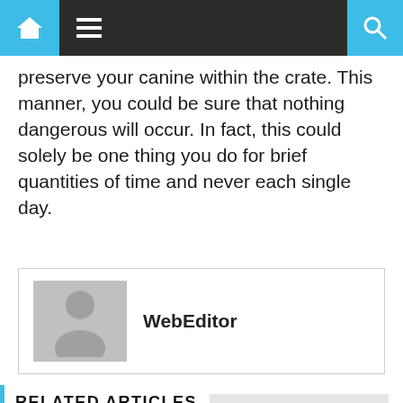Navigation bar with home, menu, and search icons
preserve your canine within the crate. This manner, you could be sure that nothing dangerous will occur. In fact, this could solely be one thing you do for brief quantities of time and never each single day.
WebEditor
RELATED ARTICLES
[Figure (photo): Photo of a horse with a foal in a field]